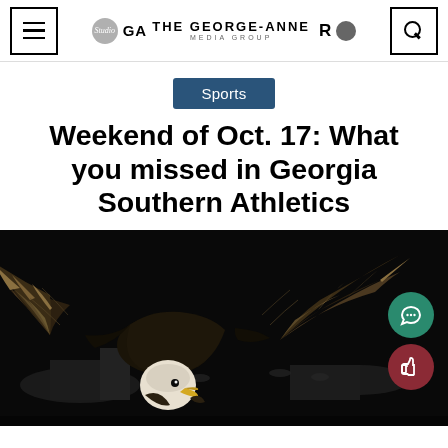The George-Anne Media Group
Sports
Weekend of Oct. 17: What you missed in Georgia Southern Athletics
[Figure (photo): Bald eagle with wings spread wide against a dark background, appearing to be at a sporting event with stadium lights visible in background]